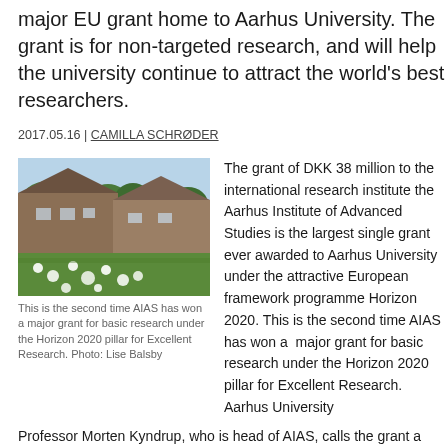major EU grant home to Aarhus University. The grant is for non-targeted research, and will help the university continue to attract the world's best researchers.
2017.05.16 | CAMILLA SCHRØDER
[Figure (photo): Exterior photo of a brick building with green lawn and white dandelions in the foreground, trees in the background. Photo by Lise Balsby.]
This is the second time AIAS has won a major grant for basic research under the Horizon 2020 pillar for Excellent Research. Photo: Lise Balsby
The grant of DKK 38 million to the international research institute the Aarhus Institute of Advanced Studies is the largest single grant ever awarded to Aarhus University under the attractive European framework programme Horizon 2020. This is the second time AIAS has won a  major grant for basic research under the Horizon 2020 pillar for Excellent Research. Aarhus University Professor Morten Kyndrup, who is head of AIAS, calls the grant a boon to non-targeted basic research in Denmark.
“These funds will help ensure that AIAS can continue to attract and recruit